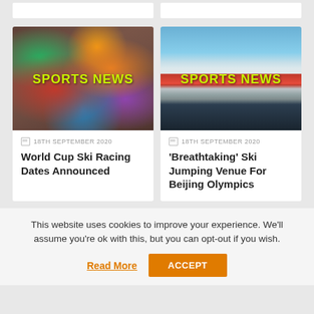[Figure (photo): Sports news card image: crowd of spectators with flags and colorful attire, with 'SPORTS NEWS' text overlay in yellow-green]
18TH SEPTEMBER 2020
World Cup Ski Racing Dates Announced
[Figure (photo): Sports news card image: ski jumping venue construction/facility with mountain and blue sky background, with 'SPORTS NEWS' text overlay in yellow-green]
18TH SEPTEMBER 2020
'Breathtaking' Ski Jumping Venue For Beijing Olympics
This website uses cookies to improve your experience. We'll assume you're ok with this, but you can opt-out if you wish.
Read More
ACCEPT